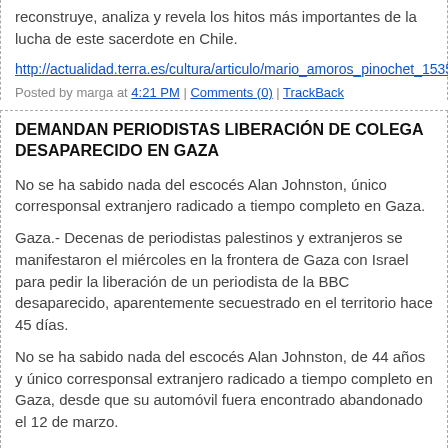reconstruye, analiza y revela los hitos más importantes de la lucha de este sacerdote en Chile.
http://actualidad.terra.es/cultura/articulo/mario_amoros_pinochet_1535
Posted by marga at 4:21 PM | Comments (0) | TrackBack
DEMANDAN PERIODISTAS LIBERACIÓN DE COLEGA DESAPARECIDO EN GAZA
No se ha sabido nada del escocés Alan Johnston, único corresponsal extranjero radicado a tiempo completo en Gaza.
Gaza.- Decenas de periodistas palestinos y extranjeros se manifestaron el miércoles en la frontera de Gaza con Israel para pedir la liberación de un periodista de la BBC desaparecido, aparentemente secuestrado en el territorio hace 45 días.
No se ha sabido nada del escocés Alan Johnston, de 44 años y único corresponsal extranjero radicado a tiempo completo en Gaza, desde que su automóvil fuera encontrado abandonado el 12 de marzo.
Jonathan Baker, subjefe del centro de noticias para el canal público británico, dijo que la BBC aún no había tenido información sobre la suerte de Johnston.